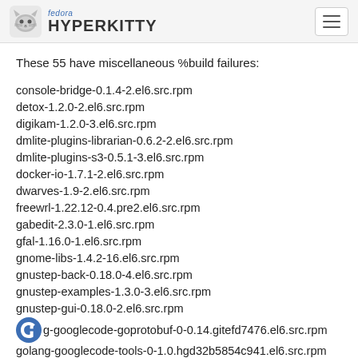fedora HYPERKITTY
These 55 have miscellaneous %build failures:
console-bridge-0.1.4-2.el6.src.rpm
detox-1.2.0-2.el6.src.rpm
digikam-1.2.0-3.el6.src.rpm
dmlite-plugins-librarian-0.6.2-2.el6.src.rpm
dmlite-plugins-s3-0.5.1-3.el6.src.rpm
docker-io-1.7.1-2.el6.src.rpm
dwarves-1.9-2.el6.src.rpm
freewrl-1.22.12-0.4.pre2.el6.src.rpm
gabedit-2.3.0-1.el6.src.rpm
gfal-1.16.0-1.el6.src.rpm
gnome-libs-1.4.2-16.el6.src.rpm
gnustep-back-0.18.0-4.el6.src.rpm
gnustep-examples-1.3.0-3.el6.src.rpm
gnustep-gui-0.18.0-2.el6.src.rpm
golang-googlecode-goprotobuf-0-0.14.gitefd7476.el6.src.rpm
golang-googlecode-tools-0-1.0.hgd32b5854c941.el6.src.rpm